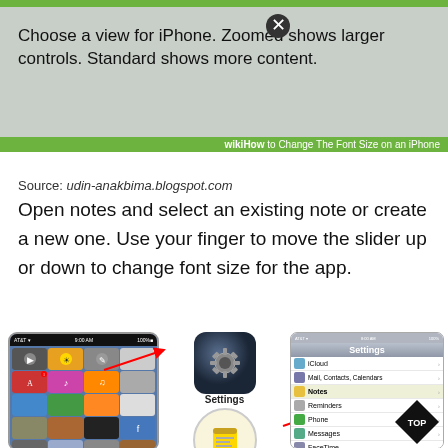[Figure (screenshot): WikiHow screenshot showing iPhone view selection with zoomed/standard options, gray background with close button and green WikiHow branding bar]
Source: udin-anakbima.blogspot.com
Open notes and select an existing note or create a new one. Use your finger to move the slider up or down to change font size for the app.
[Figure (screenshot): Three-part iPhone tutorial image: left shows iPhone home screen, middle shows Settings and Notes app icons with labels, right shows iPhone Settings menu with list items iCloud, Mail Contacts Calendars, Notes, Reminders, Phone, Messages, FaceTime, Maps, Safari, iTunes & App Store, Music. A TOP diamond badge appears bottom right.]